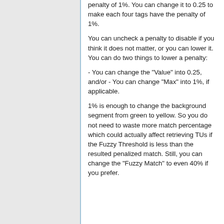penalty of 1%. You can change it to 0.25 to make each four tags have the penalty of 1%.
You can uncheck a penalty to disable if you think it does not matter, or you can lower it. You can do two things to lower a penalty:
- You can change the "Value" into 0.25, and/or - You can change "Max" into 1%, if applicable.
1% is enough to change the background segment from green to yellow. So you do not need to waste more match percentage which could actually affect retrieving TUs if the Fuzzy Threshold is less than the resulted penalized match. Still, you can change the "Fuzzy Match" to even 40% if you prefer.